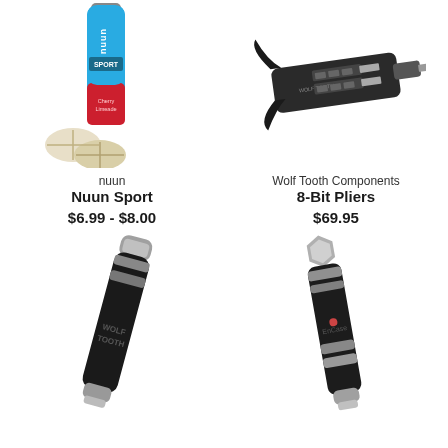[Figure (photo): Nuun Sport electrolyte tablet tube with Cherry Limeade flavor and two tablets beside it]
nuun
Nuun Sport
$6.99 - $8.00
[Figure (photo): Wolf Tooth Components 8-Bit Pliers multi-tool, black with silver bit holders]
Wolf Tooth Components
8-Bit Pliers
$69.95
[Figure (photo): Black Wolf Tooth bicycle tool handle/pump with silver metal fittings, angled view]
[Figure (photo): Black EnCase bicycle multi-tool with silver fittings, angled view]